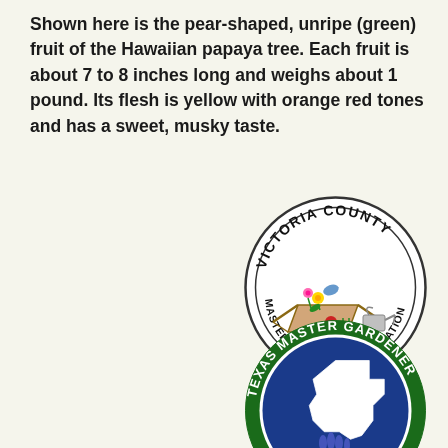Shown here is the pear-shaped, unripe (green) fruit of the Hawaiian papaya tree. Each fruit is about 7 to 8 inches long and weighs about 1 pound. Its flesh is yellow with orange red tones and has a sweet, musky taste.
[Figure (logo): Victoria County Master Gardener Association circular logo with a wheelbarrow filled with flowers and gardening tools]
[Figure (logo): Texas Master Gardener circular logo with blue background, Texas state outline, and bluebonnets]